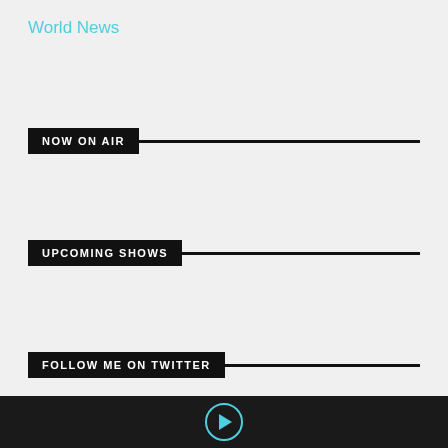World News
NOW ON AIR
UPCOMING SHOWS
FOLLOW ME ON TWITTER
Tweets from @OfficialCFM951
Comfort951 @OfficialCFM951 · 3h JUST IN: ASUU EXTENDS STRIKE